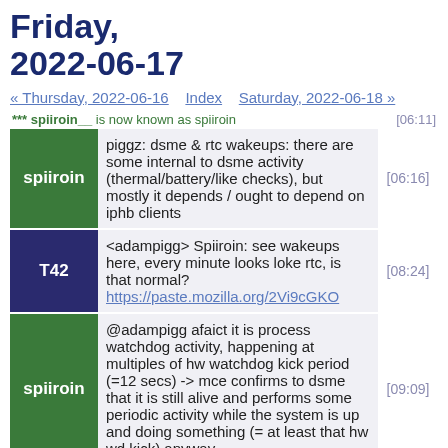Friday, 2022-06-17
« Thursday, 2022-06-16   Index   Saturday, 2022-06-18 »
*** spiiroin__ is now known as spiiroin   [06:11]
spiiroin: piggz: dsme & rtc wakeups: there are some internal to dsme activity (thermal/battery/like checks), but mostly it depends / ought to depend on iphb clients   [06:16]
T42: <adampigg> Spiiroin: see wakeups here, every minute looks loke rtc, is that normal? https://paste.mozilla.org/2Vi9cGKO   [08:24]
spiiroin: @adampigg afaict it is process watchdog activity, happening at multiples of hw watchdog kick period (=12 secs) -> mce confirms to dsme that it is still alive and performs some periodic activity while the system is up and doing something (= at least that hw wd kick) anyway   [09:09]
spiiroin: there is a connection between hw wd kicking and rtc reprogramming (the next rtc wakeup can end   [09:10]